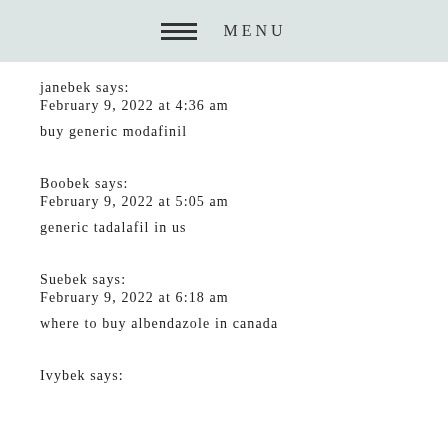MENU
janebek says:
February 9, 2022 at 4:36 am

buy generic modafinil
Boobek says:
February 9, 2022 at 5:05 am

generic tadalafil in us
Suebek says:
February 9, 2022 at 6:18 am

where to buy albendazole in canada
Ivybek says: